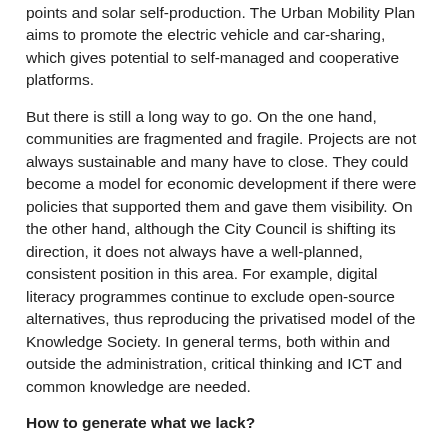points and solar self-production. The Urban Mobility Plan aims to promote the electric vehicle and car-sharing, which gives potential to self-managed and cooperative platforms.
But there is still a long way to go. On the one hand, communities are fragmented and fragile. Projects are not always sustainable and many have to close. They could become a model for economic development if there were policies that supported them and gave them visibility. On the other hand, although the City Council is shifting its direction, it does not always have a well-planned, consistent position in this area. For example, digital literacy programmes continue to exclude open-source alternatives, thus reproducing the privatised model of the Knowledge Society. In general terms, both within and outside the administration, critical thinking and ICT and common knowledge are needed.
How to generate what we lack?
Part I of the report analyses the main issues, objectives, actors involved and actions to be developed in the area of software, community telecommunications networks, physical products, collaborative consumption and commerce, energy and mobility. Part II includes an inventory of the actors involved, an